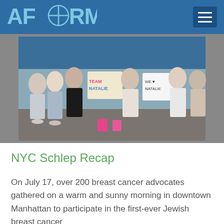AFORMC
[Figure (photo): Group photo of breast cancer advocates at the NYC Schlep event, holding signs reading 'TEAM NATALIE' and 'WE LOVE NATALIE', wearing white t-shirts outdoors on a sunny day.]
NYC Schlep Recap
On July 17, over 200 breast cancer advocates gathered on a warm and sunny morning in downtown Manhattan to participate in the first-ever Jewish breast cancer